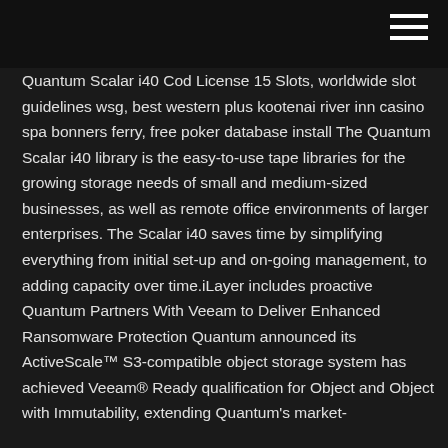Quantum Scalar i40 Cod License 15 Slots, worldwide slot guidelines wsg, best western plus kootenai river inn casino spa bonners ferry, free poker database install The Quantum Scalar i40 library is the easy-to-use tape libraries for the growing storage needs of small and medium-sized businesses, as well as remote office environments of larger enterprises. The Scalar i40 saves time by simplifying everything from initial set-up and on-going management, to adding capacity over time.iLayer includes proactive Quantum Partners With Veeam to Deliver Enhanced Ransomware Protection Quantum announced its ActiveScale™ S3-compatible object storage system has achieved Veeam® Ready qualification for Object and Object with Immutability, extending Quantum's market-